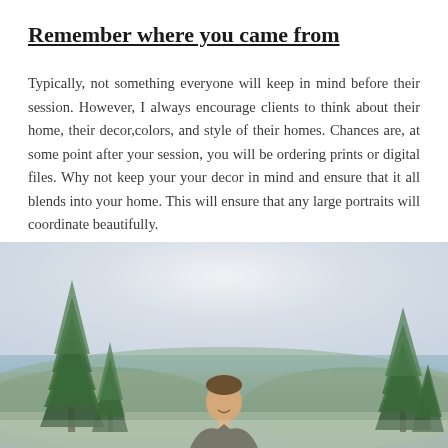Remember where you came from
Typically, not something everyone will keep in mind before their session.  However, I always encourage clients to think about their home, their decor,colors, and style of their homes.  Chances are, at some point after your session, you will be ordering prints or digital files.  Why not keep your your decor in mind and ensure that it all blends into your home.  This will ensure that any large portraits will coordinate beautifully.
[Figure (photo): Outdoor winter/fall photo of a man smiling, standing among pine trees with a misty sky and tree-covered hills in the background.]